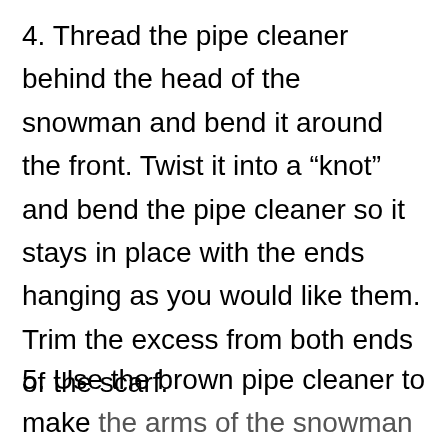4. Thread the pipe cleaner behind the head of the snowman and bend it around the front. Twist it into a “knot” and bend the pipe cleaner so it stays in place with the ends hanging as you would like them. Trim the excess from both ends of the scarf.
5. Use the brown pipe cleaner to make the arms of the snowman craft. Thread the pipe cleaner behind the snowman’s